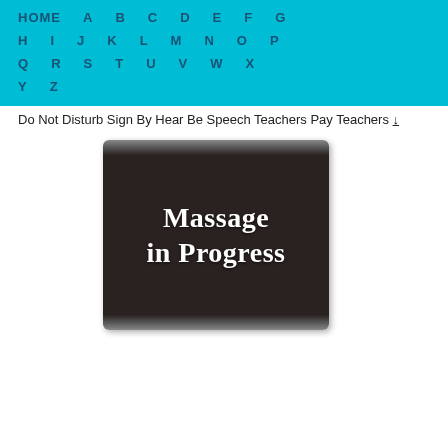HOME  A  B  C  D  E  F  G  H  I  J  K  L  M  N  O  P  Q  R  S  T  U  V  W  X  Y  Z
Do Not Disturb Sign By Hear Be Speech Teachers Pay Teachers ↓
[Figure (photo): Dark brown/black rectangular sign with white serif text reading 'Massage in Progress']